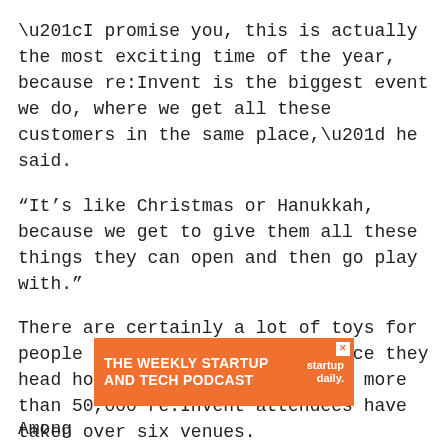“I promise you, this is actually the most exciting time of the year, because re:Invent is the biggest event we do, where we get all these customers in the same place,” he said.
“It’s like Christmas or Hanukkah, because we get to give them all these things they can open and then go play with.”
There are certainly a lot of toys for people to open and play with once they head home from Las Vegas, where more than 50,000 re:Invent attendees have taken over six venues.
AWS CEO Andy Jassy revealed Ground Station on Tuesday, before taking to the keynote stage on Wednesday morning to make a raft of announcements.
[Figure (other): Advertisement banner: THE WEEKLY STARTUP AND TECH PODCAST | startup daily.]
Among                                                                ving